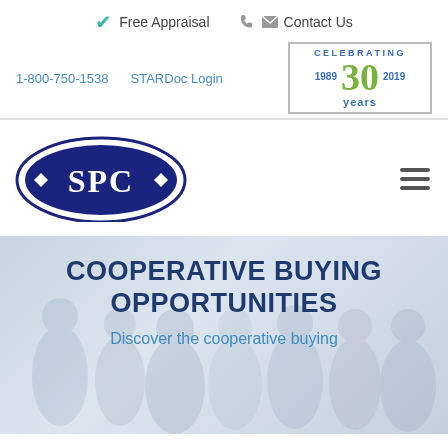Free Appraisal   Contact Us
1-800-750-1538   STARDoc Login
[Figure (logo): Celebrating 30 years badge: 1989-2019]
[Figure (logo): SPC oval logo with white text on dark navy background]
COOPERATIVE BUYING OPPORTUNITIES
Discover the cooperative buying